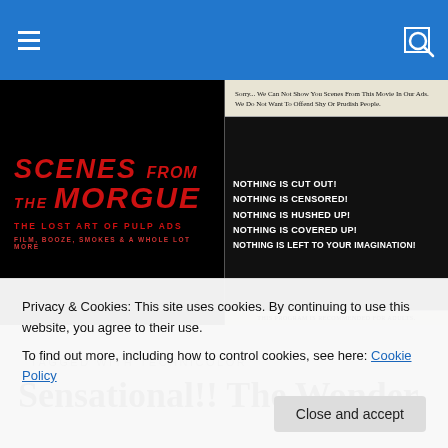Scenes From The Morgue — navigation bar with hamburger menu and search icon
[Figure (illustration): Website banner for 'Scenes From The Morgue: The Lost Art of Pulp Ads — Film, Booze, Smokes & A Whole Lot More'. Left side has red italic text on black background. Right side shows a vintage movie advertisement card reading: 'Sorry... We Can Not Show You Scenes From This Movie In Our Ads. We Do Not Want To Offend Shy Or Prudish People. NOTHING IS CUT OUT! NOTHING IS CENSORED! NOTHING IS HUSHED UP! NOTHING IS COVERED UP! NOTHING IS LEFT TO YOUR IMAGINATION! THIS PROGRAM IS RECOMMENDED FOR ADULTS.']
TAGGED WITH TECHNICOLOR
Sensational!! The Wonder
Privacy & Cookies: This site uses cookies. By continuing to use this website, you agree to their use.
To find out more, including how to control cookies, see here: Cookie Policy
Close and accept